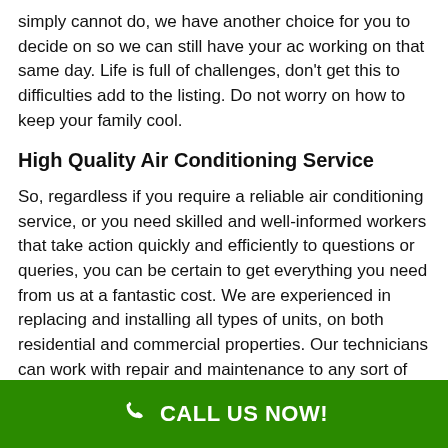simply cannot do, we have another choice for you to decide on so we can still have your ac working on that same day. Life is full of challenges, don't get this to difficulties add to the listing. Do not worry on how to keep your family cool.
High Quality Air Conditioning Service
So, regardless if you require a reliable air conditioning service, or you need skilled and well-informed workers that take action quickly and efficiently to questions or queries, you can be certain to get everything you need from us at a fantastic cost. We are experienced in replacing and installing all types of units, on both residential and commercial properties. Our technicians can work with repair and maintenance to any sort of unit like the ductless mini-splits. Written quotations are free of cost. We offer air conditioner assistance all over Bellmore NY and the surrounding places.
CALL US NOW!